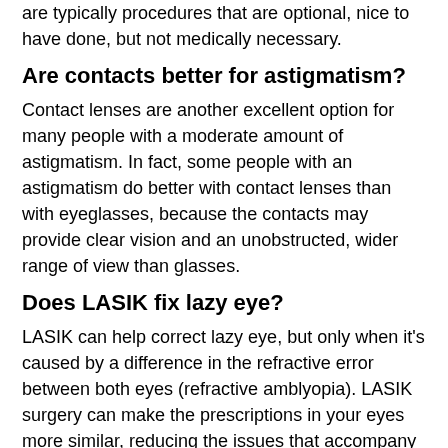are typically procedures that are optional, nice to have done, but not medically necessary.
Are contacts better for astigmatism?
Contact lenses are another excellent option for many people with a moderate amount of astigmatism. In fact, some people with an astigmatism do better with contact lenses than with eyeglasses, because the contacts may provide clear vision and an unobstructed, wider range of view than glasses.
Does LASIK fix lazy eye?
LASIK can help correct lazy eye, but only when it's caused by a difference in the refractive error between both eyes (refractive amblyopia). LASIK surgery can make the prescriptions in your eyes more similar, reducing the issues that accompany one eye having to work harder than the other.
What are the disadvantages of LASIK surgery?